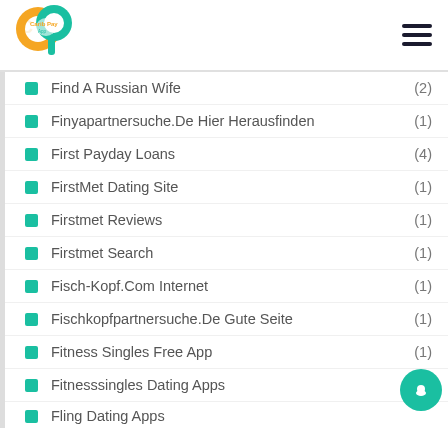[Figure (logo): Carib Pay App logo - orange and teal circular logo with CP letters]
Find A Russian Wife (2)
Finyapartnersuche.De Hier Herausfinden (1)
First Payday Loans (4)
FirstMet Dating Site (1)
Firstmet Reviews (1)
Firstmet Search (1)
Fisch-Kopf.Com Internet (1)
Fischkopfpartnersuche.De Gute Seite (1)
Fitness Singles Free App (1)
Fitnesssingles Dating Apps (1)
Fling Dating Apps (1)